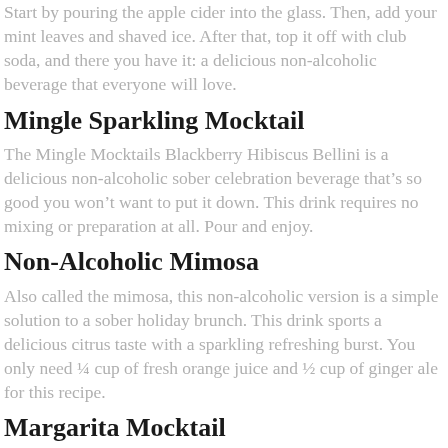Start by pouring the apple cider into the glass. Then, add your mint leaves and shaved ice. After that, top it off with club soda, and there you have it: a delicious non-alcoholic beverage that everyone will love.
Mingle Sparkling Mocktail
The Mingle Mocktails Blackberry Hibiscus Bellini is a delicious non-alcoholic sober celebration beverage that's so good you won't want to put it down. This drink requires no mixing or preparation at all. Pour and enjoy.
Non-Alcoholic Mimosa
Also called the mimosa, this non-alcoholic version is a simple solution to a sober holiday brunch. This drink sports a delicious citrus taste with a sparkling refreshing burst. You only need ¼ cup of fresh orange juice and ½ cup of ginger ale for this recipe.
Margarita Mocktail